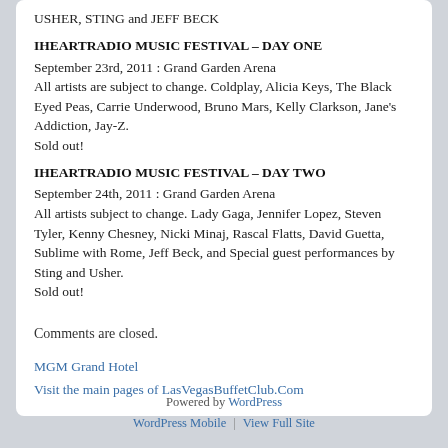USHER, STING and JEFF BECK
IHEARTRADIO MUSIC FESTIVAL – DAY ONE
September 23rd, 2011 : Grand Garden Arena
All artists are subject to change. Coldplay, Alicia Keys, The Black Eyed Peas, Carrie Underwood, Bruno Mars, Kelly Clarkson, Jane's Addiction, Jay-Z.
Sold out!
IHEARTRADIO MUSIC FESTIVAL – DAY TWO
September 24th, 2011 : Grand Garden Arena
All artists subject to change. Lady Gaga, Jennifer Lopez, Steven Tyler, Kenny Chesney, Nicki Minaj, Rascal Flatts, David Guetta, Sublime with Rome, Jeff Beck, and Special guest performances by Sting and Usher.
Sold out!
iHeartRadio.Com Official Website
LATimes.Com/Blog
MGM Grand Hotel
Visit the main pages of LasVegasBuffetClub.Com
Comments are closed.
Powered by WordPress
WordPress Mobile | View Full Site